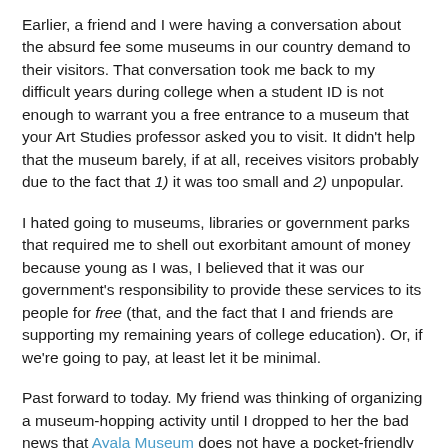Earlier, a friend and I were having a conversation about the absurd fee some museums in our country demand to their visitors. That conversation took me back to my difficult years during college when a student ID is not enough to warrant you a free entrance to a museum that your Art Studies professor asked you to visit. It didn't help that the museum barely, if at all, receives visitors probably due to the fact that 1) it was too small and 2) unpopular.
I hated going to museums, libraries or government parks that required me to shell out exorbitant amount of money because young as I was, I believed that it was our government's responsibility to provide these services to its people for free (that, and the fact that I and friends are supporting my remaining years of college education). Or, if we're going to pay, at least let it be minimal.
Past forward to today. My friend was thinking of organizing a museum-hopping activity until I dropped to her the bad news that Ayala Museum does not have a pocket-friendly entrance fee.